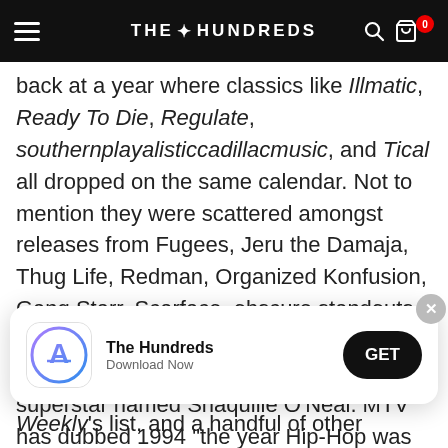THE HUNDREDS
back at a year where classics like Illmatic, Ready To Die, Regulate, southernplayalisticcadillacmusic, and Tical all dropped on the same calendar. Not to mention they were scattered amongst releases from Fugees, Jeru the Damaja, Thug Life, Redman, Organized Konfusion, Gang Starr, Scarface, obscure standouts like Boogiemonsters & Kurious Jorge, and yes, the first release from a young NBA superstar named Shaquille O'Neal. MTV has dubbed 1994 "the year Hip-Hop was reborn," and there's really no ne
[Figure (screenshot): App download banner for The Hundreds app with App Store icon, app name, Download Now subtitle, and GET button]
Weekly's list, and a handful of other outlets who've